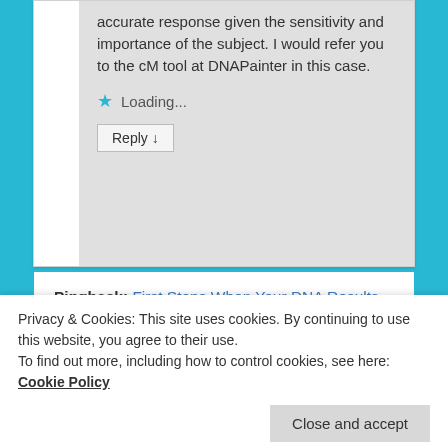accurate response given the sensitivity and importance of the subject. I would refer you to the cM tool at DNAPainter in this case.
Loading...
Reply ↓
Pingback: First Steps When Your DNA Results are Ready – Sticking Your Toe in the Genealogy Water | DNAeXplained – Genetic Genealogy
Privacy & Cookies: This site uses cookies. By continuing to use this website, you agree to their use.
To find out more, including how to control cookies, see here: Cookie Policy
Close and accept
of 1,000 centimorgan equals about 42 DNA...